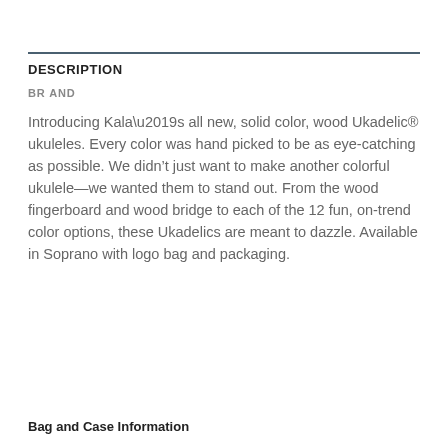DESCRIPTION
BR AND
Introducing Kala’s all new, solid color, wood Ukadelic® ukuleles. Every color was hand picked to be as eye-catching as possible. We didn’t just want to make another colorful ukulele—we wanted them to stand out. From the wood fingerboard and wood bridge to each of the 12 fun, on-trend color options, these Ukadelics are meant to dazzle. Available in Soprano with logo bag and packaging.
Bag and Case Information